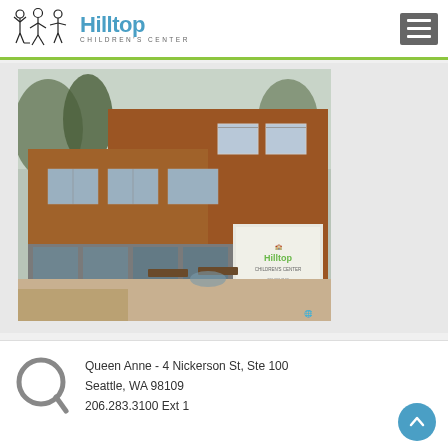[Figure (logo): Hilltop Children's Center logo with stick figure children and blue Hilltop text]
[Figure (photo): Exterior photograph of Hilltop Children's Center building - brick multi-story building with Hilltop sign visible in window, courtyard with benches and fountain]
Queen Anne - 4 Nickerson St, Ste 100
Seattle, WA 98109
206.283.3100 Ext 1